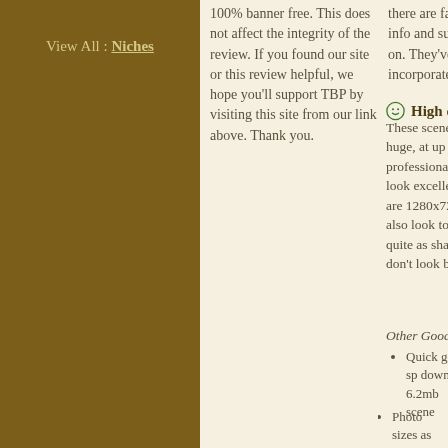View All : Niches
100% banner free. This does not affect the integrity of the review. If you found our site or this review helpful, we hope you'll support TBP by visiting this site from our link above. Thank you.
there are fan info and sug on. They've incorporate
High qu
These scene huge, at up professional look excelle are 1280x72 also look to quite as sha don't look b
Other Good
Quick got sp down 6.2mb scene
Photo sizes as Zip